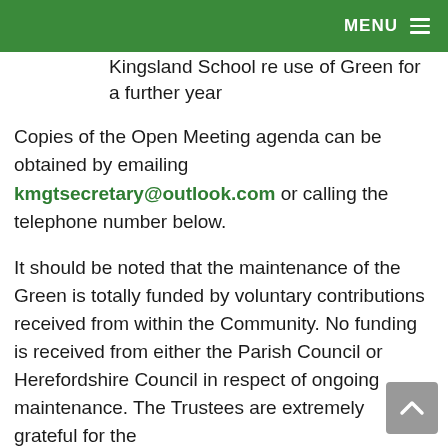MENU
Kingsland School re use of Green for a further year
Copies of the Open Meeting agenda can be obtained by emailing kmgtsecretary@outlook.com or calling the telephone number below.
It should be noted that the maintenance of the Green is totally funded by voluntary contributions received from within the Community. No funding is received from either the Parish Council or Herefordshire Council in respect of ongoing maintenance. The Trustees are extremely grateful for the